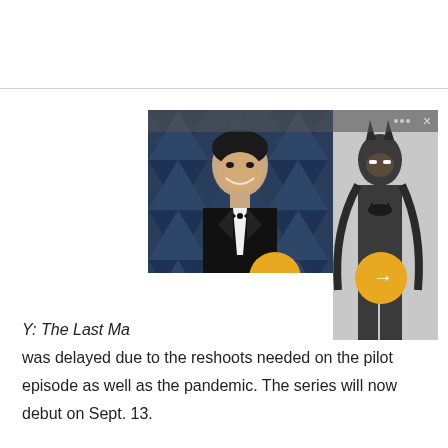[Figure (screenshot): Screenshot of a webpage showing a man in a tuxedo at an awards event (blue geometric background) and a partially visible Batman figure. Two orange circular arrow buttons overlay the images. A white panel is below the images. There is a close (×) button and a three-dot menu button in the top right of the overlay.]
Y: The Last Ma
was delayed due to the reshoots needed on the pilot episode as well as the pandemic. The series will now debut on Sept. 13.